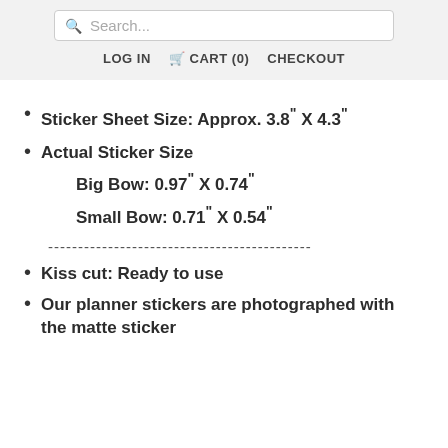Search... | LOG IN  CART (0)  CHECKOUT
Sticker Sheet Size: Approx. 3.8" X 4.3"
Actual Sticker Size
Big Bow: 0.97" X 0.74"
Small Bow: 0.71" X 0.54"
--------------------------------------------
Kiss cut: Ready to use
Our planner stickers are photographed with the matte sticker